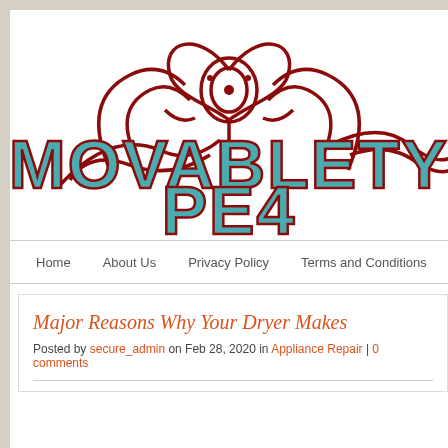[Figure (logo): MOVABLETY PE4 logo with teal block letters and dark red decorative swirl/floral illustration above]
Home   About Us   Privacy Policy   Terms and Conditions
Major Reasons Why Your Dryer Makes
Posted by secure_admin on Feb 28, 2020 in Appliance Repair | 0 comments